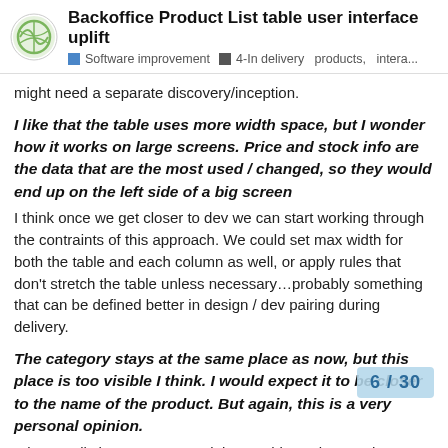Backoffice Product List table user interface uplift
Software improvement  4-In delivery  products,  intera...
might need a separate discovery/inception.
I like that the table uses more width space, but I wonder how it works on large screens. Price and stock info are the data that are the most used / changed, so they would end up on the left side of a big screen
I think once we get closer to dev we can start working through the contraints of this approach. We could set max width for both the table and each column as well, or apply rules that don't stretch the table unless necessary…probably something that can be defined better in design / dev pairing during delivery.
The category stays at the same place as now, but this place is too visible I think. I would expect it to be closer to the name of the product. But again, this is a very personal opinion.
I don't really have a strong opinion on this, so keen to hear others' thoughts on it and happy to update
6 / 30